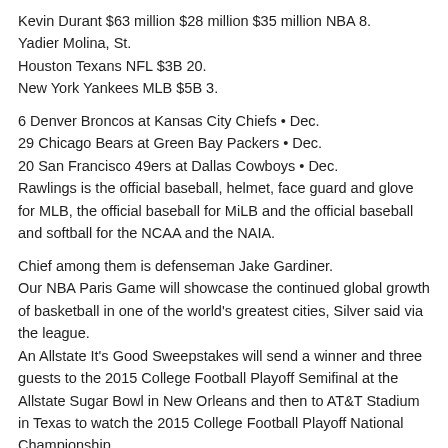Kevin Durant $63 million $28 million $35 million NBA 8.
Yadier Molina, St.
Houston Texans NFL $3B 20.
New York Yankees MLB $5B 3.
6 Denver Broncos at Kansas City Chiefs • Dec.
29 Chicago Bears at Green Bay Packers • Dec.
20 San Francisco 49ers at Dallas Cowboys • Dec.
Rawlings is the official baseball, helmet, face guard and glove for MLB, the official baseball for MiLB and the official baseball and softball for the NCAA and the NAIA.
Chief among them is defenseman Jake Gardiner.
Our NBA Paris Game will showcase the continued global growth of basketball in one of the world's greatest cities, Silver said via the league.
An Allstate It's Good Sweepstakes will send a winner and three guests to the 2015 College Football Playoff Semifinal at the Allstate Sugar Bowl in New Orleans and then to AT&T Stadium in Texas to watch the 2015 College Football Playoff National Championship .
Birmingham Iron on Feb.
Lionel Messi $104 million $72 million 432 million Soccer 4.
Kevin Durant $63 million $28 million $35 million NBA 8.